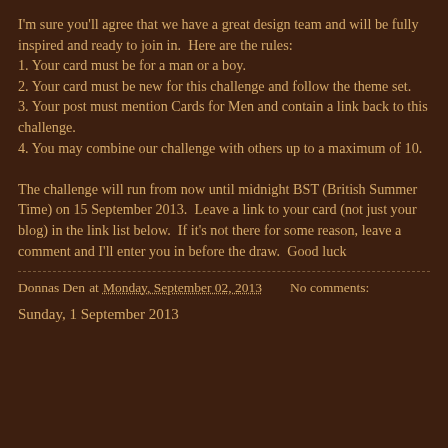I'm sure you'll agree that we have a great design team and will be fully inspired and ready to join in.  Here are the rules:
1. Your card must be for a man or a boy.
2. Your card must be new for this challenge and follow the theme set.
3. Your post must mention Cards for Men and contain a link back to this challenge.
4. You may combine our challenge with others up to a maximum of 10.

The challenge will run from now until midnight BST (British Summer Time) on 15 September 2013.  Leave a link to your card (not just your blog) in the link list below.  If it's not there for some reason, leave a comment and I'll enter you in before the draw.  Good luck
Donnas Den at Monday, September 02, 2013   No comments:
Sunday, 1 September 2013